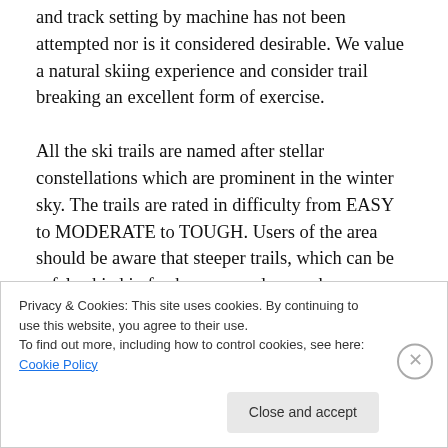and track setting by machine has not been attempted nor is it considered desirable. We value a natural skiing experience and consider trail breaking an excellent form of exercise.

All the ski trails are named after stellar constellations which are prominent in the winter sky. The trails are rated in difficulty from EASY to MODERATE to TOUGH. Users of the area should be aware that steeper trails, which can be safely skied in fresh new powder, can be hazardous in adverse conditions. Generally, the trails can be divided
Privacy & Cookies: This site uses cookies. By continuing to use this website, you agree to their use.
To find out more, including how to control cookies, see here: Cookie Policy
Close and accept